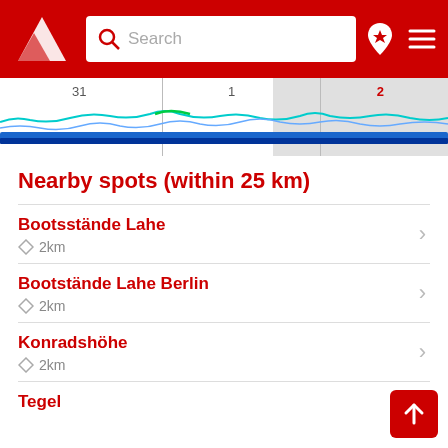Search header with logo, search box, and navigation icons
[Figure (continuous-plot): Wind/weather forecast strip chart showing wavy colored lines (blue, cyan, green) with day labels 31, 1, 2. Right third is shaded gray indicating selected day 2.]
Nearby spots (within 25 km)
Bootsstände Lahe
◇ 2km
Bootstände Lahe Berlin
◇ 2km
Konradshöhe
◇ 2km
Tegel